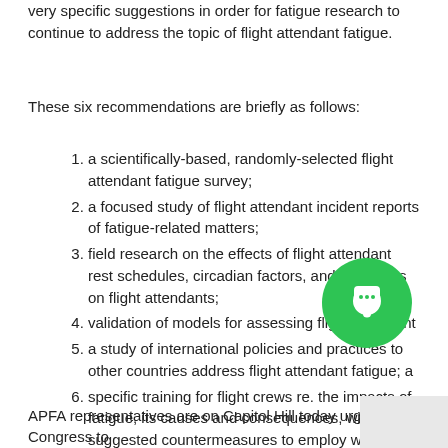very specific suggestions in order for fatigue research to continue to address the topic of flight attendant fatigue.
These six recommendations are briefly as follows:
a scientifically-based, randomly-selected flight attendant fatigue survey;
a focused study of flight attendant incident reports of fatigue-related matters;
field research on the effects of flight attendant rest schedules, circadian factors, and sleep loss on flight attendants;
validation of models for assessing flight attendant [fatigue];
a study of international policies and practices to [see how] other countries address flight attendant fatigue; a[nd]
specific training for flight crews re. the impacts of fatigue, its causes and consequences, with suggested countermeasures to employ while on duty.
APFA representatives are on Capitol Hill today urging Congress to